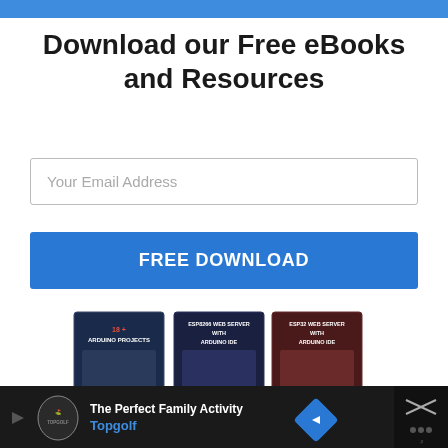Download our Free eBooks and Resources
Your Email Address
FREE DOWNLOAD
[Figure (photo): Three eBook covers: '18+ Arduino Projects', 'ESP8266 Web Server with Arduino IDE', 'ESP32 Web Server with Arduino IDE', plus 'Ultimate Guide for Arduino Shields' and 'Arduino Mini Course' below]
[Figure (screenshot): Ad bar at bottom: Topgolf 'The Perfect Family Activity' advertisement with navigation and close buttons]